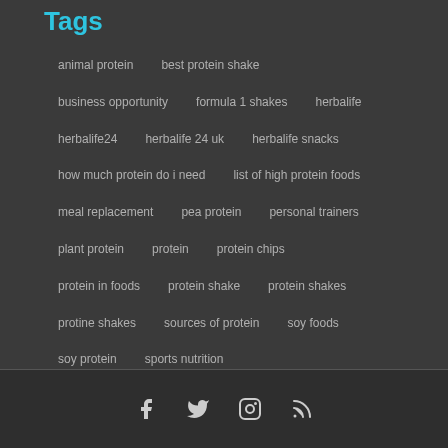Tags
animal protein
best protein shake
business opportunity
formula 1 shakes
herbalife
herbalife24
herbalife 24 uk
herbalife snacks
how much protein do i need
list of high protein foods
meal replacement
pea protein
personal trainers
plant protein
protein
protein chips
protein in foods
protein shake
protein shakes
protine shakes
sources of protein
soy foods
soy protein
sports nutrition
social icons: facebook, twitter, instagram, rss